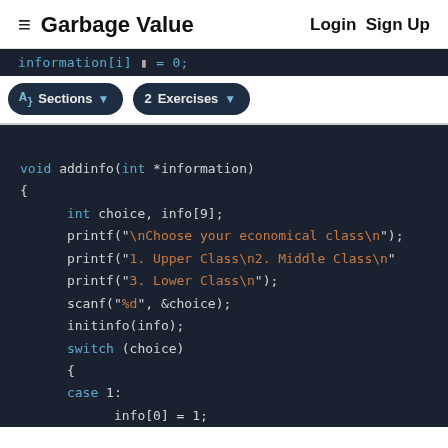≡  Garbage Value    Login  Sign Up
[Figure (screenshot): Code editor toolbar showing 'information[i] = 0;' snippet with Sections and Exercises pill buttons]
void addinfo(int *information)
{
    int choice, info[9];
    printf("\nChoose your economical class\n");
    printf("1. Upper Class\n2. Middle Class\n");
    printf("3. Lower Class\n");
    scanf("%d", &choice);
    initinfo(info);
    switch (choice)
    {
    case 1:
        info[0] = 1;
        break;
    case 2:
        info[1] = 1;